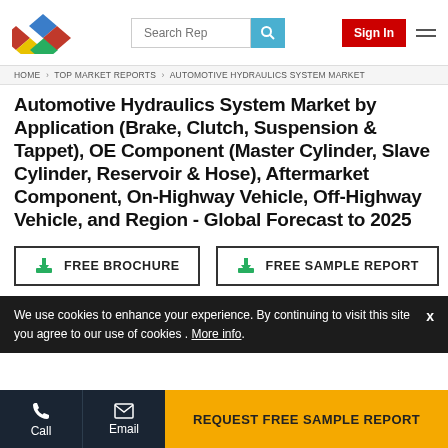Search Rep | Sign In
HOME > TOP MARKET REPORTS > AUTOMOTIVE HYDRAULICS SYSTEM MARKET
Automotive Hydraulics System Market by Application (Brake, Clutch, Suspension & Tappet), OE Component (Master Cylinder, Slave Cylinder, Reservoir & Hose), Aftermarket Component, On-Highway Vehicle, Off-Highway Vehicle, and Region - Global Forecast to 2025
FREE BROCHURE | FREE SAMPLE REPORT
We use cookies to enhance your experience. By continuing to visit this site you agree to our use of cookies . More info.
Call | Email | REQUEST FREE SAMPLE REPORT